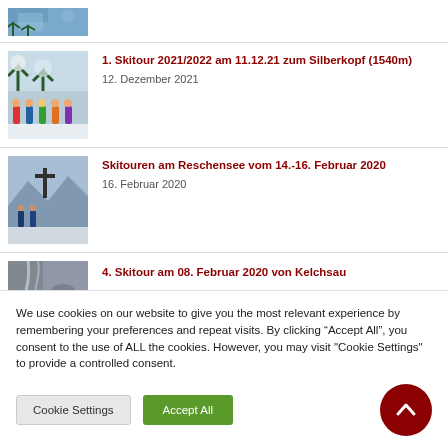[Figure (photo): Partial winter/ski scene image at top of page, cropped]
1. Skitour 2021/2022 am 11.12.21 zum Silberkopf (1540m)
12. Dezember 2021
Skitouren am Reschensee vom 14.-16. Februar 2020
16. Februar 2020
4. Skitour am 08. Februar 2020 von Kelchsau
We use cookies on our website to give you the most relevant experience by remembering your preferences and repeat visits. By clicking “Accept All”, you consent to the use of ALL the cookies. However, you may visit "Cookie Settings" to provide a controlled consent.
Cookie Settings   Accept All